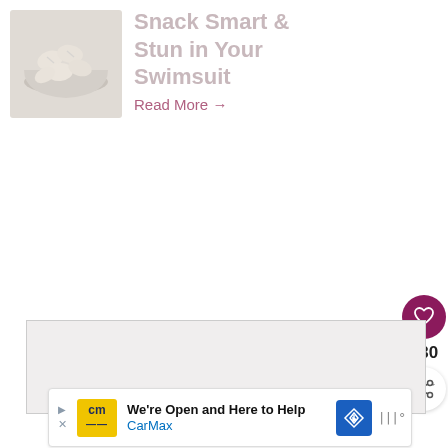[Figure (photo): Thumbnail image of pistachios or nuts in a glass bowl, light gray/cream tones]
Snack Smart & Stun in Your Swimsuit
Read More →
[Figure (infographic): Heart/like button (dark magenta circle with white heart icon), count 130, and share button (white circle with share icon)]
[Figure (screenshot): Gray content placeholder box]
[Figure (infographic): Ad banner: CarMax - We're Open and Here to Help, with yellow CM logo, blue diamond direction icon, and weather icon on right]